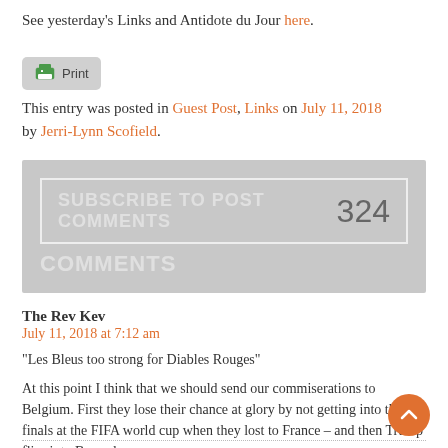See yesterday's Links and Antidote du Jour here.
[Figure (other): Print button with printer icon]
This entry was posted in Guest Post, Links on July 11, 2018 by Jerri-Lynn Scofield.
[Figure (other): Subscribe to post comments box showing 324 comments]
The Rev Kev
July 11, 2018 at 7:12 am
“Les Bleus too strong for Diables Rouges”
At this point I think that we should send our commiserations to Belgium. First they lose their chance at glory by not getting into the finals at the FIFA world cup when they lost to France – and then Trump flies into Brussels.